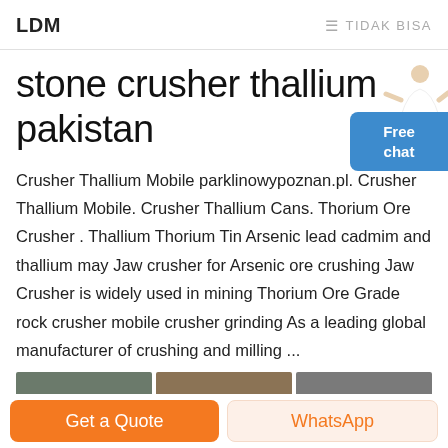LDM   ≡ TIDAK BISA
stone crusher thallium pakistan
Crusher Thallium Mobile parklinowypoznan.pl. Crusher Thallium Mobile. Crusher Thallium Cans. Thorium Ore Crusher . Thallium Thorium Tin Arsenic lead cadmim and thallium may Jaw crusher for Arsenic ore crushing Jaw Crusher is widely used in mining Thorium Ore Grade rock crusher mobile crusher grinding As a leading global manufacturer of crushing and milling ...
[Figure (photo): Three thumbnail images of stone crusher / mining equipment at bottom of content area]
Get a Quote   WhatsApp